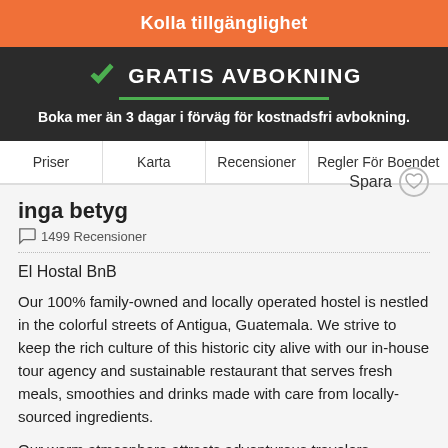Kolla tillgänglighet
GRATIS AVBOKNING
Boka mer än 3 dagar i förväg för kostnadsfri avbokning.
Priser | Karta | Recensioner | Regler För Boendet
inga betyg
1499 Recensioner
Spara
El Hostal BnB
Our 100% family-owned and locally operated hostel is nestled in the colorful streets of Antigua, Guatemala. We strive to keep the rich culture of this historic city alive with our in-house tour agency and sustainable restaurant that serves fresh meals, smoothies and drinks made with care from locally-sourced ingredients.
Our warm atmosphere attracts adventurous travelers, humanitarians, musicians, artists, and friends. They come to relax and rest their heads after...